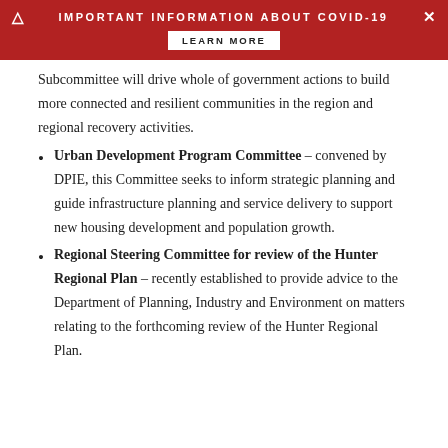IMPORTANT INFORMATION ABOUT COVID-19 | LEARN MORE
Subcommittee will drive whole of government actions to build more connected and resilient communities in the region and regional recovery activities.
Urban Development Program Committee – convened by DPIE, this Committee seeks to inform strategic planning and guide infrastructure planning and service delivery to support new housing development and population growth.
Regional Steering Committee for review of the Hunter Regional Plan – recently established to provide advice to the Department of Planning, Industry and Environment on matters relating to the forthcoming review of the Hunter Regional Plan.